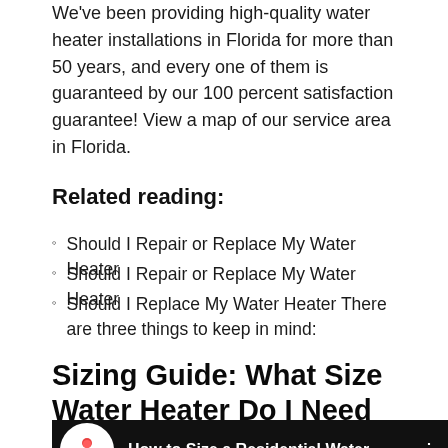We've been providing high-quality water heater installations in Florida for more than 50 years, and every one of them is guaranteed by our 100 percent satisfaction guarantee! View a map of our service area in Florida.
Related reading:
Should I Repair or Replace My Water Heater
Should I Repair or Replace My Water Heater
Should I Replace My Water Heater There are three things to keep in mind:
Sizing Guide: What Size Water Heater Do I Need for My Home?
[Figure (screenshot): Video thumbnail with black background, circular logo on left, text 'How to Size a Residential Water' visible, and vertical dots menu icon on right]